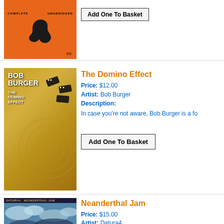[Figure (illustration): Orange book/album cover with COMPLETE and UNABRIDGED text, a black bird silhouette, and price 3'6]
[Figure (illustration): Add One To Basket button for item 1]
[Figure (illustration): Bob Burger - The Domino Effect album cover with dominos spiral on gold background]
The Domino Effect
Price: $12.00
Artist: Bob Burger
Description:
In case you're not aware, Bob Burger is a fo
Add One To Basket
[Figure (illustration): Datura4 Neanderthal Jam album cover with clouds and globe]
Neanderthal Jam
Price: $15.00
Artist: Datura4
Description:
West Australian boogie masters Datura4 "Neanderthal Jam". Thje record is packed full-tilt heavy rock that were jammed out a